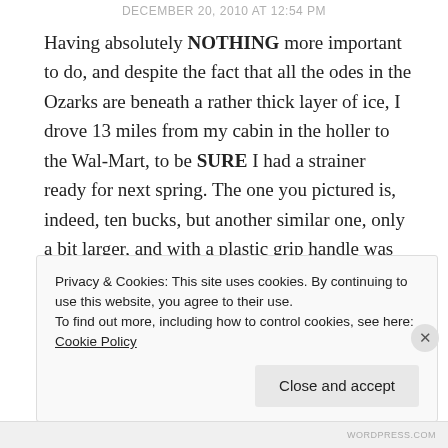DECEMBER 20, 2010 AT 12:54 PM
Having absolutely NOTHING more important to do, and despite the fact that all the odes in the Ozarks are beneath a rather thick layer of ice, I drove 13 miles from my cabin in the holler to the Wal-Mart, to be SURE I had a strainer ready for next spring. The one you pictured is, indeed, ten bucks, but another similar one, only a bit larger, and with a plastic grip handle was only about $3. I've already got the extension pole. The strainer with the GRAY duct tape on it is MINE!!!
Privacy & Cookies: This site uses cookies. By continuing to use this website, you agree to their use.
To find out more, including how to control cookies, see here: Cookie Policy
Close and accept